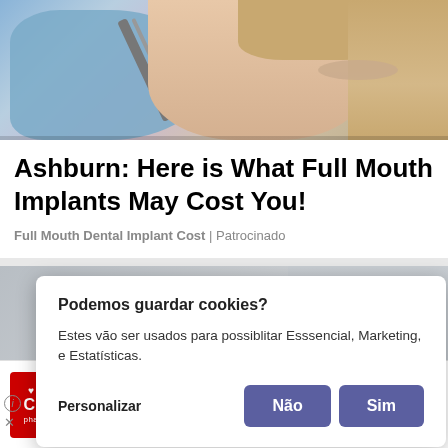[Figure (photo): Dental procedure photo showing a dentist in blue gloves using a dental tool on a patient]
Ashburn: Here is What Full Mouth Implants May Cost You!
Full Mouth Dental Implant Cost | Patrocinado
[Figure (screenshot): Cookie consent modal overlay on a webpage background showing another advertisement. Modal text: 'Podemos guardar cookies? Estes vão ser usados para possiblitar Esssencial, Marketing, e Estatisticas.' with buttons 'Personalizar', 'Não', 'Sim'. Below modal is a CVS pharmacy advertisement: 'Buy Online, Pick Up In-Store CVS']